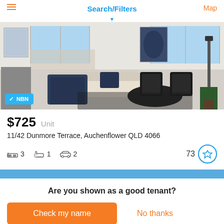Search/Filters
[Figure (photo): Interior photo of a modern apartment living room with a beige sofa draped with a dark navy knit blanket, two dark wicker chairs, a round dark coffee table, dining table in background, floor-to-ceiling windows. NBN badge visible at bottom left.]
$725  Unit
11/42 Dunmore Terrace, Auchenflower QLD 4066
3 bedrooms  1 bathroom  2 car spaces  73
Are you shown as a good tenant?
Check my name
No thanks